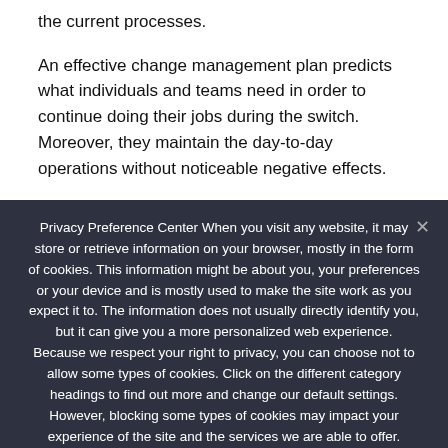the current processes.
An effective change management plan predicts what individuals and teams need in order to continue doing their jobs during the switch. Moreover, they maintain the day-to-day operations without noticeable negative effects.
Privacy Preference Center When you visit any website, it may store or retrieve information on your browser, mostly in the form of cookies. This information might be about you, your preferences or your device and is mostly used to make the site work as you expect it to. The information does not usually directly identify you, but it can give you a more personalized web experience. Because we respect your right to privacy, you can choose not to allow some types of cookies. Click on the different category headings to find out more and change our default settings. However, blocking some types of cookies may impact your experience of the site and the services we are able to offer.
Ok   Privacy policy